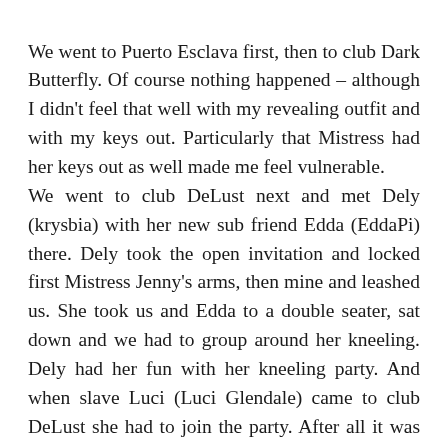We went to Puerto Esclava first, then to club Dark Butterfly. Of course nothing happened – although I didn't feel that well with my revealing outfit and with my keys out. Particularly that Mistress had her keys out as well made me feel vulnerable. We went to club DeLust next and met Dely (krysbia) with her new sub friend Edda (EddaPi) there. Dely took the open invitation and locked first Mistress Jenny's arms, then mine and leashed us. She took us and Edda to a double seater, sat down and we had to group around her kneeling. Dely had her fun with her kneeling party. And when slave Luci (Luci Glendale) came to club DeLust she had to join the party. After all it was some fun and Mistress finally got her cuffs locked again by someone else but herself. I am still quite possesive about Mistress Jenny and it made me look forward in anticipation to my green